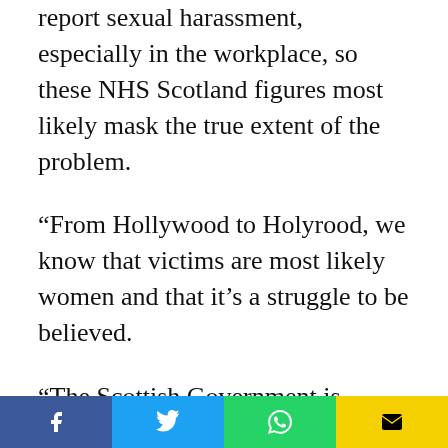report sexual harassment, especially in the workplace, so these NHS Scotland figures most likely mask the true extent of the problem.
“From Hollywood to Holyrood, we know that victims are most likely women and that it’s a struggle to be believed.
“The Scottish Government is encouraging employers to put in place robust processes to deal with sexual harassment and is piloting an Equally Safe Employer Accreditation Programme but surely the